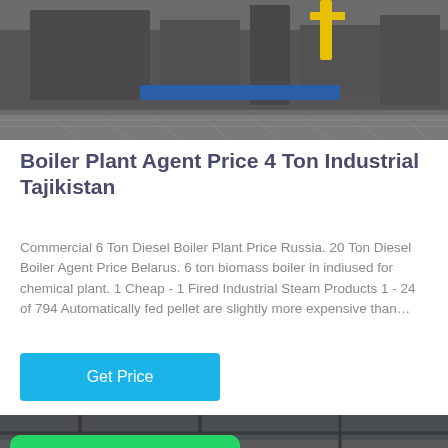[Figure (photo): Industrial boiler plant machinery in a factory setting, top portion of image]
Boiler Plant Agent Price 4 Ton Industrial Tajikistan
Commercial 6 Ton Diesel Boiler Plant Price Russia. 20 Ton Diesel Boiler Agent Price Belarus. 6 ton biomass boiler in indiused for chemical plant. 1 Cheap - 1 Fired Industrial Steam Products 1 - 24 of 794 Automatically fed pellet are slightly more expensive than…
[Figure (other): Get Price button — cyan/blue rectangular button]
[Figure (photo): Industrial boiler plant machinery inside a warehouse, lower portion of page with WhatsApp overlay badge]